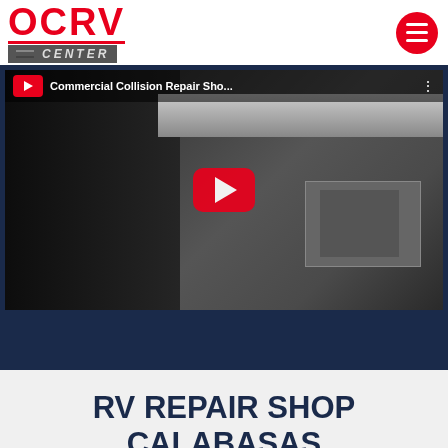[Figure (logo): OCRV Center logo with red text and gray CENTER banner]
[Figure (screenshot): YouTube video thumbnail showing a man in a black jacket pointing at a commercial vehicle engine in a repair shop, with red play button overlay. Title reads: Commercial Collision Repair Sho...]
RV REPAIR SHOP CALABASAS HIGHLANDS CALIFORNIA